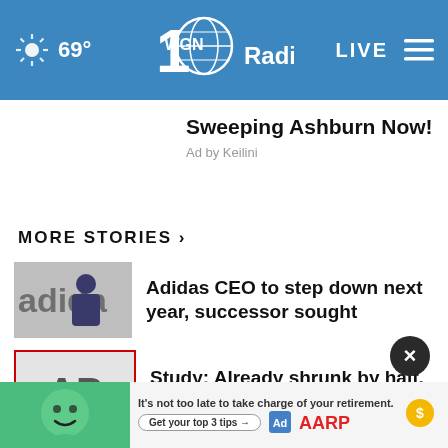69° WGN Radio 100 LIVE
Sweeping Ashburn Now!
Ad by Keilini
MORE STORIES ›
Adidas CEO to step down next year, successor sought
Study: Already shrunk by half, Swiss glaciers melting …
Germany: No single cause for massive Oder River fish …
Flash flooding forces evacuation from
[Figure (screenshot): AARP advertisement banner: green character, retirement tips, Get your top 3 tips button, Ad Council and AARP logos]